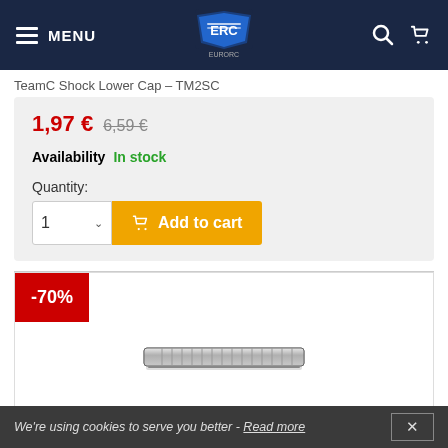MENU | EuroRC logo | Search | Cart
TeamC Shock Lower Cap – TM2SC
1,97 € 6,59 €
Availability  In stock
Quantity:
1  Add to cart
[Figure (photo): Product image of TeamC Shock Lower Cap TM2SC, a small ridged cylindrical metal shock lower cap, with a -70% red discount badge in the top left.]
We're using cookies to serve you better - Read more  ✕